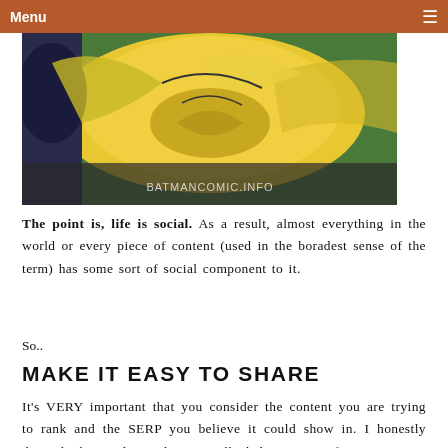Menu ≡
[Figure (photo): Comic book image showing Batman character with yellow/gold costume elements, with watermark text BATMANCOMIC.INFO at the bottom]
The point is, life is social. As a result, almost everything in the world or every piece of content (used in the boradest sense of the term) has some sort of social component to it.
So..
MAKE IT EASY TO SHARE
It's VERY important that you consider the content you are trying to rank and the SERP you believe it could show in. I honestly don't think social signals can really help a piece of content move up the ranks for non-temporal queries, or even temporal queries